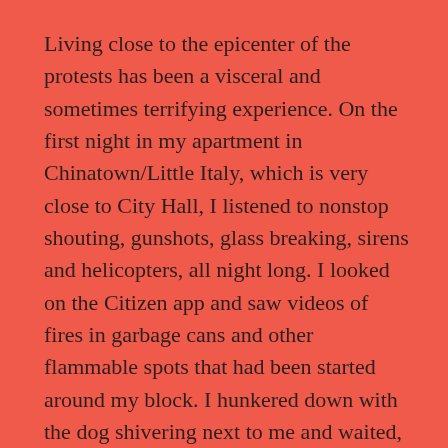Living close to the epicenter of the protests has been a visceral and sometimes terrifying experience. On the first night in my apartment in Chinatown/Little Italy, which is very close to City Hall, I listened to nonstop shouting, gunshots, glass breaking, sirens and helicopters, all night long. I looked on the Citizen app and saw videos of fires in garbage cans and other flammable spots that had been started around my block. I hunkered down with the dog shivering next to me and waited, awake, for sunrise.
I took him out for a walk in the morning light and saw garbage cans and restaurant outdoor potted plants strewn in the street. Graffiti had